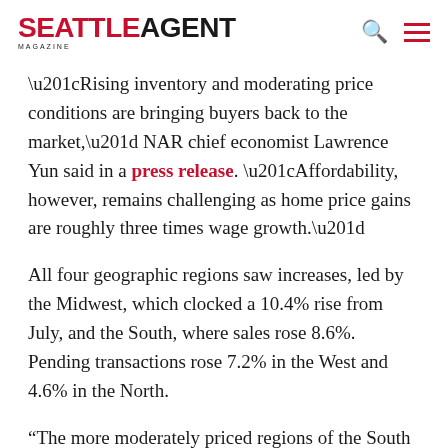SEATTLE AGENT MAGAZINE
“Rising inventory and moderating price conditions are bringing buyers back to the market,” NAR chief economist Lawrence Yun said in a press release. “Affordability, however, remains challenging as home price gains are roughly three times wage growth.”
All four geographic regions saw increases, led by the Midwest, which clocked a 10.4% rise from July, and the South, where sales rose 8.6%. Pending transactions rose 7.2% in the West and 4.6% in the North.
“The more moderately priced regions of the South and Midwest are experiencing stronger signing of contracts to buy, which is not surprising,” Yun said. “This can be